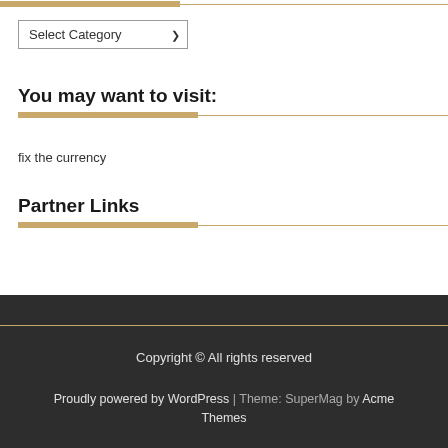Select Category
You may want to visit:
fix the currency
Partner Links
Copyright © All rights reserved
Proudly powered by WordPress | Theme: SuperMag by Acme Themes